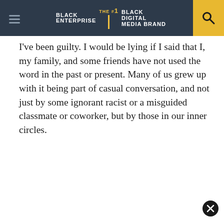BLACK ENTERPRISE THE #1 BLACK DIGITAL MEDIA BRAND
I’ve been guilty. I would be lying if I said that I, my family, and some friends have not used the word in the past or present. Many of us grew up with it being part of casual conversation, and not just by some ignorant racist or a misguided classmate or coworker, but by those in our inner circles.